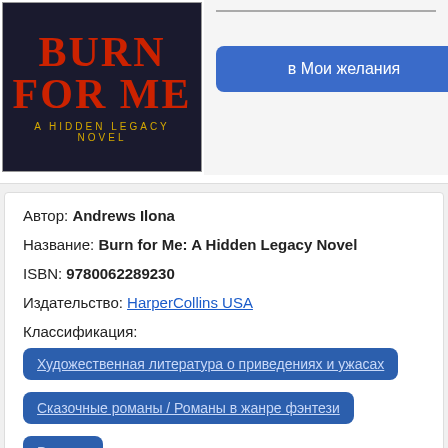[Figure (illustration): Book cover of 'Burn for Me: A Hidden Legacy Novel' with red title text on dark background and subtitle in gold]
[Figure (screenshot): Button labeled 'в Мои желания' (Add to Wishlist) in blue on grey background]
Автор: Andrews Ilona
Название: Burn for Me: A Hidden Legacy Novel
ISBN: 9780062289230
Издательство: HarperCollins USA
Классификация:
Художественная литература о приведениях и ужасах
Сказочные романы / Романы в жанре фэнтези
Романы
ISBN-10: 0062289233